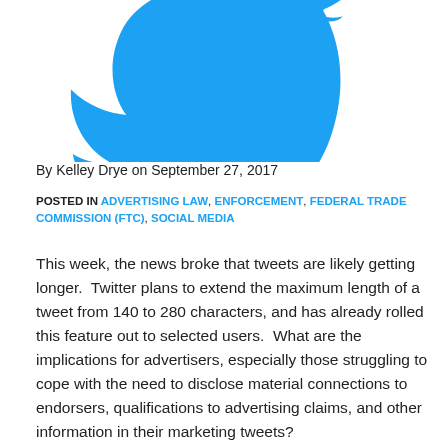[Figure (logo): Twitter bird logo in blue, partially cropped at top]
By Kelley Drye on September 27, 2017
POSTED IN ADVERTISING LAW, ENFORCEMENT, FEDERAL TRADE COMMISSION (FTC), SOCIAL MEDIA
This week, the news broke that tweets are likely getting longer.  Twitter plans to extend the maximum length of a tweet from 140 to 280 characters, and has already rolled this feature out to selected users.  What are the implications for advertisers, especially those struggling to cope with the need to disclose material connections to endorsers, qualifications to advertising claims, and other information in their marketing tweets?